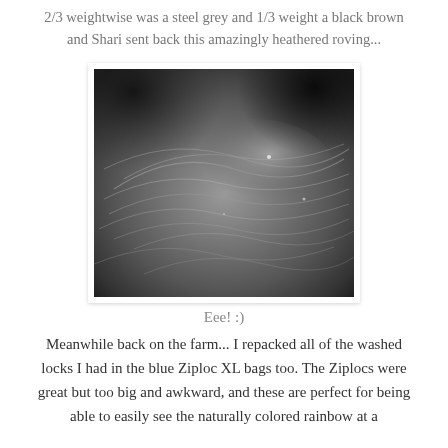2/3 weightwise was a steel grey and 1/3 weight a black brown and Shari sent back this amazingly heathered roving...
[Figure (photo): Close-up photograph of a heathered roving wool in steel grey and black brown tones, showing the twisted fiber texture]
Eee! :)
Meanwhile back on the farm... I repacked all of the washed locks I had in the blue Ziploc XL bags too. The Ziplocs were great but too big and awkward, and these are perfect for being able to easily see the naturally colored rainbow at a